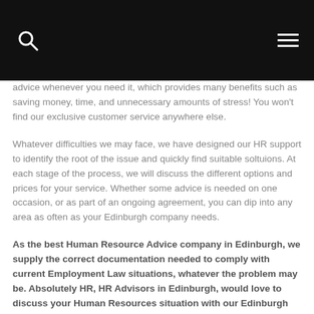[navigation bar with search and menu icons]
advice whenever you need it, which provides many benefits such as saving money, time, and unnecessary amounts of stress! You won't find our exclusive customer service anywhere else.
Whatever difficulties we may face, we have designed our HR support to identify the root of the issue and quickly find suitable soltuions. At each stage of the process, we will discuss the different options and prices for your service. Whether some advice is needed on one occasion, or as part of an ongoing agreement, you can dip into any area as often as your Edinburgh company needs.
As the best Human Resource Advice company in Edinburgh, we supply the correct documentation needed to comply with current Employment Law situations, whatever the problem may be. Absolutely HR, HR Advisors in Edinburgh, would love to discuss your Human Resources situation with our Edinburgh on-call support team today.